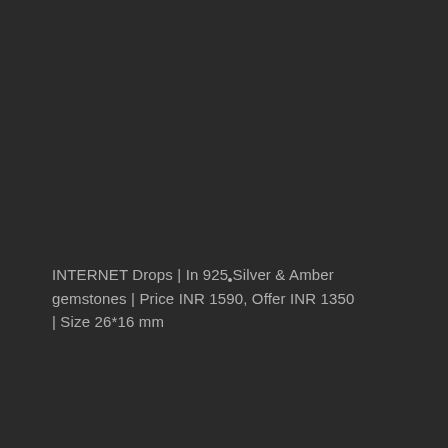[Figure (photo): Dark background product photo (very dark/underexposed) with a small light dot visible near center, representing jewelry drops in 925 Silver and Amber gemstones]
INTERNET Drops | In 925 Silver & Amber gemstones | Price INR 1590, Offer INR 1350 | Size 26*16 mm